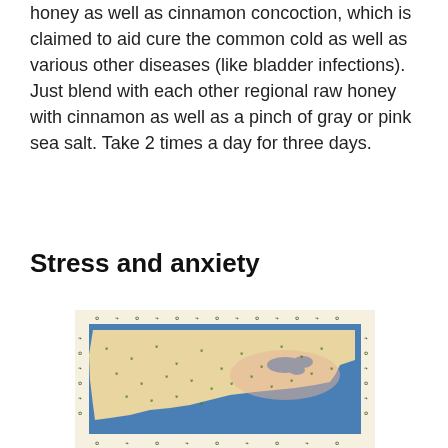honey as well as cinnamon concoction, which is claimed to aid cure the common cold as well as various other diseases (like bladder infections). Just blend with each other regional raw honey with cinnamon as well as a pinch of gray or pink sea salt. Take 2 times a day for three days.
Stress and anxiety
[Figure (map): A colorful map of North America (United States) showing various herbs and plants illustrated across different regions, with a blue ocean background and plant illustrations bordering the map on all sides.]